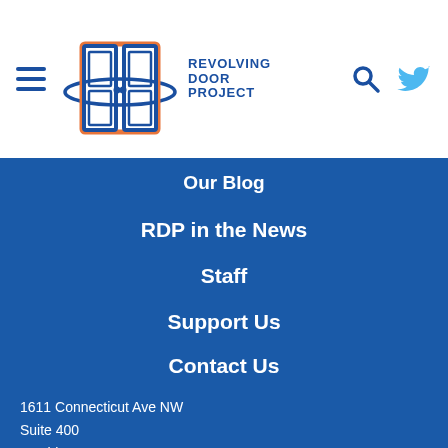[Figure (logo): Revolving Door Project logo with hamburger menu icon, door icon, and Twitter/search icons in header]
Our Blog
RDP in the News
Staff
Support Us
Contact Us
1611 Connecticut Ave NW
Suite 400
Washington, DC 20009
@revolvingdoorDC